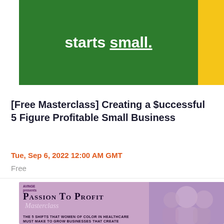[Figure (illustration): Banner with dark green background showing text 'starts small.' in white bold with underlined 'small', and a yellow vertical stripe on the right side.]
[Free Masterclass] Creating a $uccessful 5 Figure Profitable Small Business
Tue, Sep 6, 2022 12:00 AM GMT
Free
[Figure (illustration): Promotional banner for 'Passion To Profit Masterclass' with purple/mauve background, text about 'The 5 shifts that women of color in healthcare must make to grow businesses that create', a small logo top-left, and photo of smiling women on the right.]